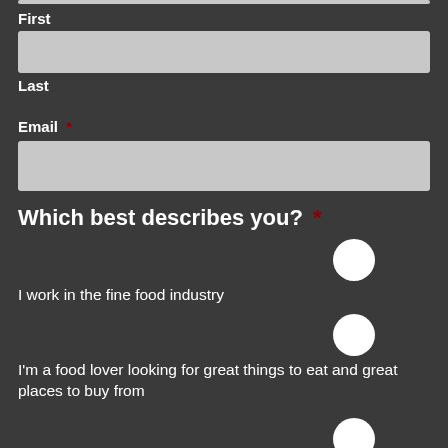First
Last
Email *
Which best describes you? *
I work in the fine food industry
I'm a food lover looking for great things to eat and great places to buy from